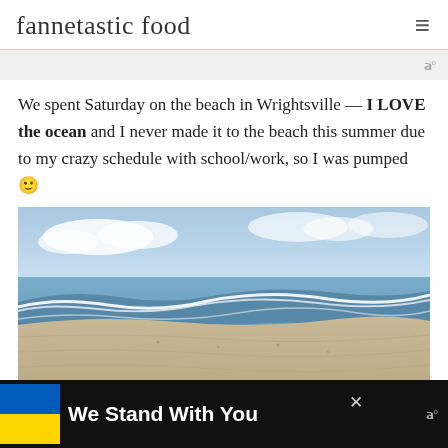fannetastic food
We spent Saturday on the beach in Wrightsville — I LOVE the ocean and I never made it to the beach this summer due to my crazy schedule with school/work, so I was pumped 🙂
[Figure (photo): Beach scene with ocean waves rolling onto sandy shore, blue sky with clouds in the background]
[Figure (infographic): Bottom advertisement banner: Ukraine flag (blue and yellow) on left, text 'We Stand With You' in white on black background, close button X, and Mediavine logo icon on right]